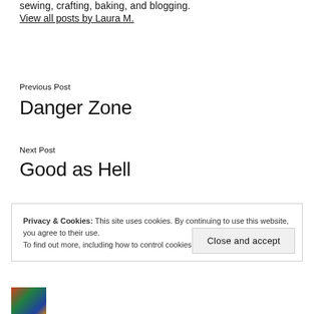sewing, crafting, baking, and blogging.
View all posts by Laura M.
Previous Post
Danger Zone
Next Post
Good as Hell
Privacy & Cookies: This site uses cookies. By continuing to use this website, you agree to their use.
To find out more, including how to control cookies, see here: Cookie Policy
Close and accept
[Figure (photo): Small thumbnail image at bottom left]